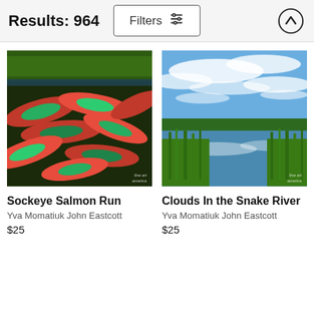Results: 964
Filters
[Figure (photo): Underwater photo of sockeye salmon run — a dense mass of red and green salmon visible both above and below the waterline, with green trees visible above]
Sockeye Salmon Run
Yva Momatiuk John Eastcott
$25
[Figure (photo): Landscape photo titled Clouds In the Snake River — wide view of a marshy river wetland with tall green reeds, calm water reflecting clouds, and a dramatic blue sky with sweeping white clouds]
Clouds In the Snake River
Yva Momatiuk John Eastcott
$25